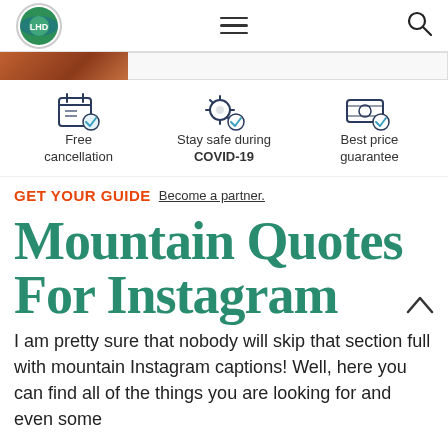Navigation bar with logo, hamburger menu, and search icon
[Figure (screenshot): Partial image strip showing a reddish-brown photo on the left and a light grey area on the right]
[Figure (infographic): Three features: Free cancellation (calendar icon), Stay safe during COVID-19 (shield icon), Best price guarantee (money icon)]
GET YOUR GUIDE  Become a partner.
Mountain Quotes For Instagram
I am pretty sure that nobody will skip that section full with mountain Instagram captions! Well, here you can find all of the things you are looking for and even some